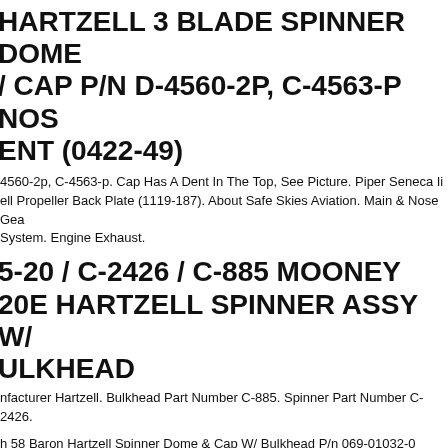HARTZELL 3 BLADE SPINNER DOME / CAP P/N D-4560-2P, C-4563-P NOSE ENT (0422-49)
4560-2p, C-4563-p. Cap Has A Dent In The Top, See Picture. Piper Seneca Ii ell Propeller Back Plate (1119-187). About Safe Skies Aviation. Main & Nose Gea System. Engine Exhaust.
5-20 / C-2426 / C-885 MOONEY 20E HARTZELL SPINNER ASSY W/ ULKHEAD
nfacturer Hartzell. Bulkhead Part Number C-885. Spinner Part Number C-2426.
h 58 Baron Hartzell Spinner Dome & Cap W/ Bulkhead P/n 069-01032-0 (0322-04 3567-1p, B3264, C3566-1. Cap Has A Few Dents, See Pictures. Removed In Goo ition From A Parted Out 1980 Beech 58 Baron N700st, Sn Th-1091. Ttaf 8,528.5. h Baron 95-b55 Garwin Oil Separator Pn G4026 (1221-447).
ell Alternator Es-4003 - No Core Charge. Bought And Never Used.. Es-4003 Hartz Alternatorsold As Pictured We Have Many Aircraft Parts. Please See What We Listed On Our Ebay Store Andor Feel Free To Reach Out For More Detailspicture ks For Lookingwe Want To Help You Find The Right Parts For Your Aircraft.